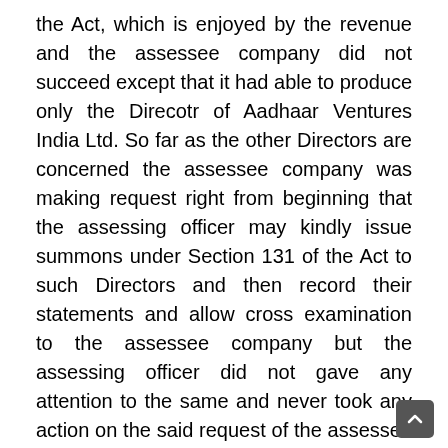the Act, which is enjoyed by the revenue and the assessee company did not succeed except that it had able to produce only the Direcotr of Aadhaar Ventures India Ltd. So far as the other Directors are concerned the assessee company was making request right from beginning that the assessing officer may kindly issue summons under Section 131 of the Act to such Directors and then record their statements and allow cross examination to the assessee company but the assessing officer did not gave any attention to the same and never took any action on the said request of the assessee company.
11.  While passing the assessment order under Section 143(3) read with Section 153C of the Act, the assessing officer did not agree with the evidences filed and treated the amount of Rs.55 Crore as income of the assessee company under Section 68 of the Act on